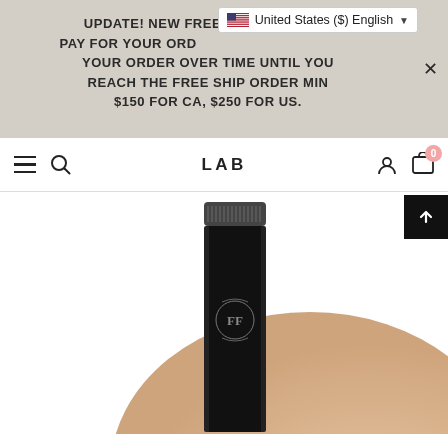UPDATE! NEW FREE SHIPPING DATE PAY FOR YOUR ORDER OVER TIME, ADD TO YOUR ORDER OVER TIME UNTIL YOU REACH THE FREE SHIP ORDER MIN $150 FOR CA, $250 FOR US.
[Figure (screenshot): Locale/currency selector dropdown showing United States ($) English with US flag]
[Figure (screenshot): Website navigation bar with hamburger menu, search icon, LAB logo, account icon, and cart icon showing 0 items]
[Figure (photo): Black cosmetic tube product with brand monogram logo FF on a skin-toned background swatch, partially visible]